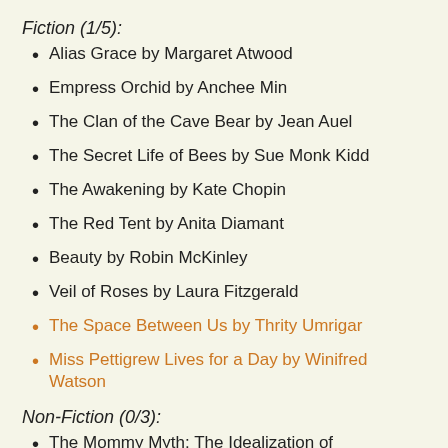Fiction (1/5):
Alias Grace by Margaret Atwood
Empress Orchid by Anchee Min
The Clan of the Cave Bear by Jean Auel
The Secret Life of Bees by Sue Monk Kidd
The Awakening by Kate Chopin
The Red Tent by Anita Diamant
Beauty by Robin McKinley
Veil of Roses by Laura Fitzgerald
The Space Between Us by Thrity Umrigar
Miss Pettigrew Lives for a Day by Winifred Watson
Non-Fiction (0/3):
The Mommy Myth: The Idealization of Motherhood and How it Has Undermined All Women by Susan